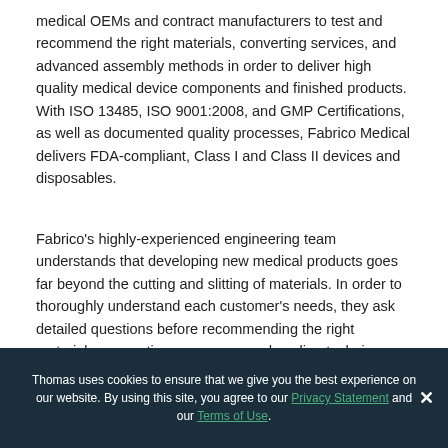medical OEMs and contract manufacturers to test and recommend the right materials, converting services, and advanced assembly methods in order to deliver high quality medical device components and finished products. With ISO 13485, ISO 9001:2008, and GMP Certifications, as well as documented quality processes, Fabrico Medical delivers FDA-compliant, Class I and Class II devices and disposables.
Fabrico's highly-experienced engineering team understands that developing new medical products goes far beyond the cutting and slitting of materials. In order to thoroughly understand each customer's needs, they ask detailed questions before recommending the right materials, converting processes, and sealing techniques. This
Thomas uses cookies to ensure that we give you the best experience on our website. By using this site, you agree to our Privacy Statement and our Terms of Use.